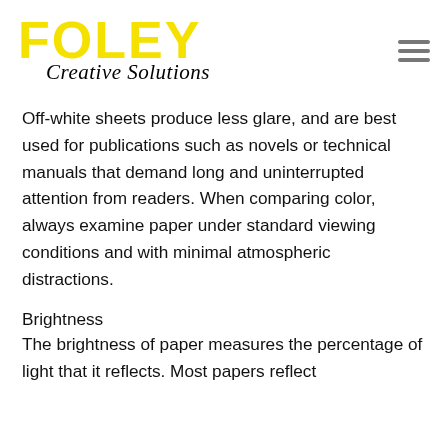[Figure (logo): Foley Creative Solutions logo with yellow block letters FOLEY and cursive script 'Creative Solutions' below]
Off-white sheets produce less glare, and are best used for publications such as novels or technical manuals that demand long and uninterrupted attention from readers. When comparing color, always examine paper under standard viewing conditions and with minimal atmospheric distractions.
Brightness
The brightness of paper measures the percentage of light that it reflects. Most papers reflect approximately 60 to 90% of incoming light.